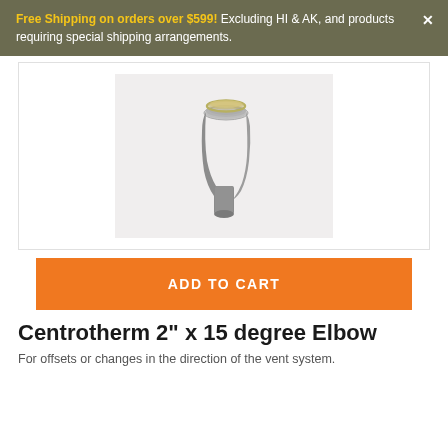Free Shipping on orders over $599! Excluding HI & AK, and products requiring special shipping arrangements.
[Figure (photo): 3D render of a grey Centrotherm 2 inch x 15 degree elbow pipe fitting on a light grey background]
ADD TO CART
Centrotherm 2" x 15 degree Elbow
For offsets or changes in the direction of the vent system.